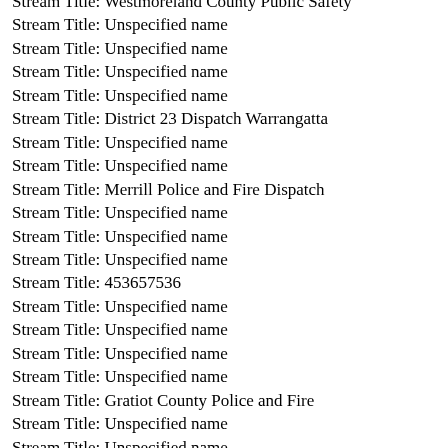Stream Title: Westmoreland County Public Safety
Stream Title: Unspecified name
Stream Title: Unspecified name
Stream Title: Unspecified name
Stream Title: Unspecified name
Stream Title: District 23 Dispatch Warrangatta
Stream Title: Unspecified name
Stream Title: Unspecified name
Stream Title: Merrill Police and Fire Dispatch
Stream Title: Unspecified name
Stream Title: Unspecified name
Stream Title: Unspecified name
Stream Title: 453657536
Stream Title: Unspecified name
Stream Title: Unspecified name
Stream Title: Unspecified name
Stream Title: Unspecified name
Stream Title: Gratiot County Police and Fire
Stream Title: Unspecified name
Stream Title: Unspecified name
Stream Title: Unspecified name
Stream Title: Unspecified name
Stream Title: Unspecified name
Stream Title: Unspecified name
Stream Title: Unspecified name
Stream Title: Unspecified name